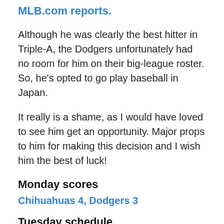MLB.com reports.
Although he was clearly the best hitter in Triple-A, the Dodgers unfortunately had no room for him on their big-league roster. So, he’s opted to go play baseball in Japan.
It really is a shame, as I would have loved to see him get an opportunity. Major props to him for making this decision and I wish him the best of luck!
Monday scores
Chihuahuas 4, Dodgers 3
Tuesday schedule
4:05 p.m. PT: Great Lakes (TBA) at Lansing (TBA)